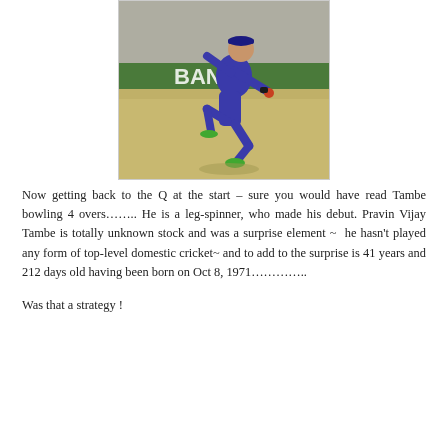[Figure (photo): Cricket player in blue uniform bowling at a cricket match, with crowd in background and BANK advertisement visible on the boundary]
Now getting back to the Q at the start – sure you would have read Tambe bowling 4 overs…….. He is a leg-spinner, who made his debut. Pravin Vijay Tambe is totally unknown stock and was a surprise element ~  he hasn't played any form of top-level domestic cricket~ and to add to the surprise is 41 years and 212 days old having been born on Oct 8, 1971…………..
Was that a strategy !